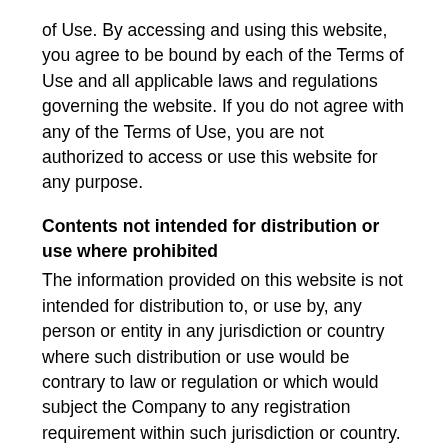of Use. By accessing and using this website, you agree to be bound by each of the Terms of Use and all applicable laws and regulations governing the website. If you do not agree with any of the Terms of Use, you are not authorized to access or use this website for any purpose.
Contents not intended for distribution or use where prohibited
The information provided on this website is not intended for distribution to, or use by, any person or entity in any jurisdiction or country where such distribution or use would be contrary to law or regulation or which would subject the Company to any registration requirement within such jurisdiction or country. Neither the information, nor any opinion contained in this website constitutes a